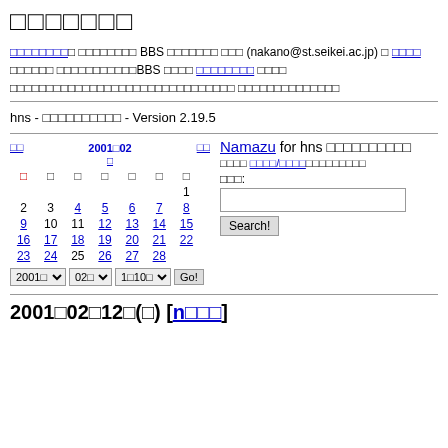日記システム
このシステムは 中野が管理する BBS です。管理者 中野 (nakano@st.seikei.ac.jp) に 連絡 して下さい。このBBS への 各種設定 については こちら を参照のこと。
hns - 日記自動生成システム - Version 2.19.5
[Figure (other): Calendar for 2001年02月 with navigation and Namazu search widget]
2001年02月12日(月) [n日記]